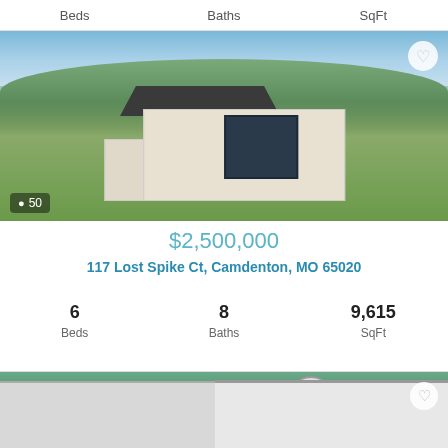Beds  Baths  SqFt
[Figure (photo): Aerial view of a large modern luxury home with white and dark exterior, large windows, pool, surrounded by green hillside landscape]
$2,500,000
117 Lost Spike Ct, Camdenton, MO 65020
6 Beds   8 Baths   9,615 SqFt
[Figure (photo): Partial view of second property listing showing two houses with trees]